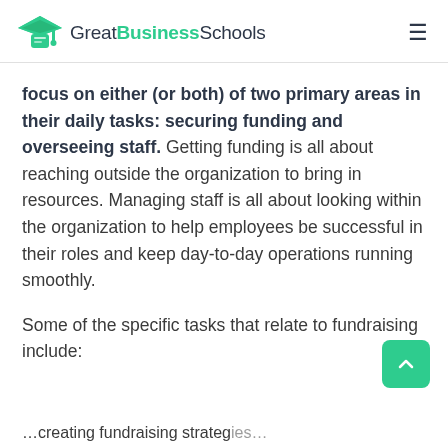GreatBusinessSchools
focus on either (or both) of two primary areas in their daily tasks: securing funding and overseeing staff. Getting funding is all about reaching outside the organization to bring in resources. Managing staff is all about looking within the organization to help employees be successful in their roles and keep day-to-day operations running smoothly.
Some of the specific tasks that relate to fundraising include:
…creating fundraising strategies…